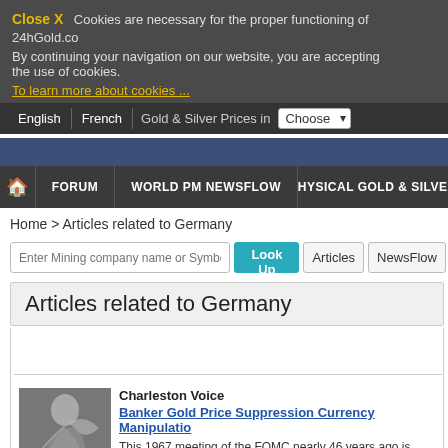Close X  Cookies are necessary for the proper functioning of 24hGold.co. By continuing your navigation on our website, you are accepting the use of cookies.
To learn more about cookies ...
English | French | Gold & Silver Prices in Choose
FORUM | WORLD PM NEWSFLOW | PHYSICAL GOLD & SILVER
Home > Articles related to Germany
Enter Mining company name or Symbol
Articles related to Germany
Charleston Voice
Banker Gold Price Suppression Currency Manipulation
This 1967 meeting of the FOMC nearly 46 years ago is clear and im. This criminal cabal has certainly built up their mechanisms since thi behavioral response to inquiry. Damn the torpedoes, full steam ahe. Saturday, February 27, 2021